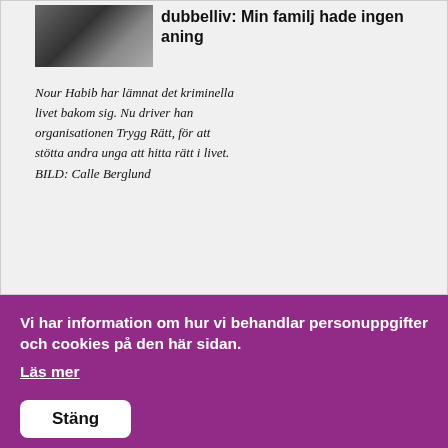[Figure (photo): Photo of two people, partially visible, dark background]
dubbelliv: Min familj hade ingen aning
Nour Habib har lämnat det kriminella livet bakom sig. Nu driver han organisationen Trygg Rätt, för att stötta andra unga att hitta rätt i livet. BILD: Calle Berglund
Vi har information om hur vi behandlar personuppgifter och cookies på den här sidan.
Läs mer
Stäng